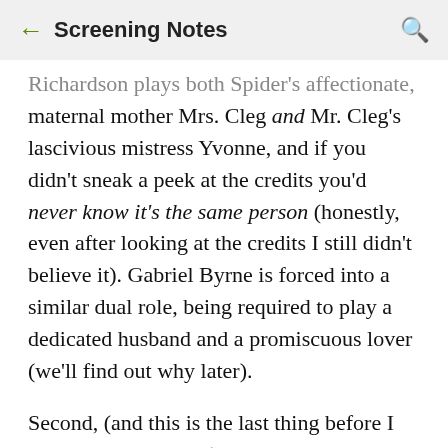← Screening Notes 🔍
Richardson plays both Spider's affectionate, maternal mother Mrs. Cleg and Mr. Cleg's lascivious mistress Yvonne, and if you didn't sneak a peek at the credits you'd never know it's the same person (honestly, even after looking at the credits I still didn't believe it). Gabriel Byrne is forced into a similar dual role, being required to play a dedicated husband and a promiscuous lover (we'll find out why later).
Second, (and this is the last thing before I get into plot analysis) the shot composition in Spider looks beautiful while setting the atmosphere for the